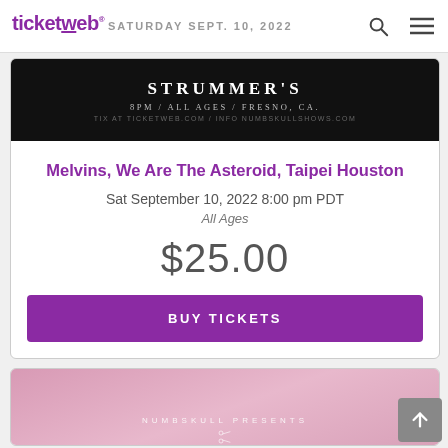ticketweb — SATURDAY SEPT 10, 2022
[Figure (photo): Black concert poster for event at Strummer's, 8PM / All Ages / Fresno, CA. TIX at TicketWeb.com / INFO NumbskullShows.com]
Melvins, We Are The Asteroid, Taipei Houston
Sat September 10, 2022 8:00 pm PDT
All Ages
$25.00
BUY TICKETS
[Figure (photo): Partial pink/mauve concert banner showing 'NUMBSKULL PRESENTS' text with scissors graphic, partially visible at bottom of page]